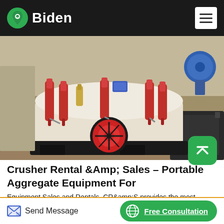Biden
[Figure (photo): Industrial crusher machine, white and red, with hydraulic cylinders, shown outdoors on a construction/quarry site. A blue motor is visible in the background right.]
Crusher Rental &Amp; Sales – Portable Aggregate Equipment For
Equipment Sales and Rentals. CR&amp;S provides the most reliable crushers, impactors, screens, feeders, and conveyors available. Our top-of-the-line, quality equipment is matched only by our top quality service and delivery. Learn More
Send Message | Free Consultation